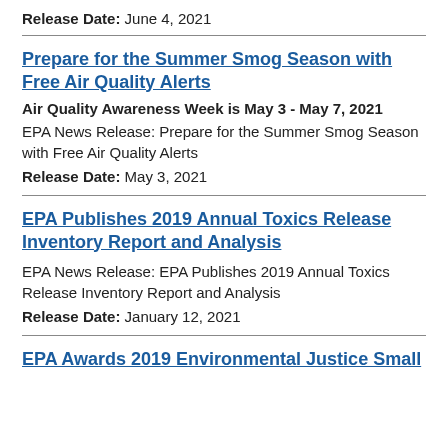Release Date: June 4, 2021
Prepare for the Summer Smog Season with Free Air Quality Alerts
Air Quality Awareness Week is May 3 - May 7, 2021
EPA News Release: Prepare for the Summer Smog Season with Free Air Quality Alerts
Release Date: May 3, 2021
EPA Publishes 2019 Annual Toxics Release Inventory Report and Analysis
EPA News Release: EPA Publishes 2019 Annual Toxics Release Inventory Report and Analysis
Release Date: January 12, 2021
EPA Awards 2019 Environmental Justice Small